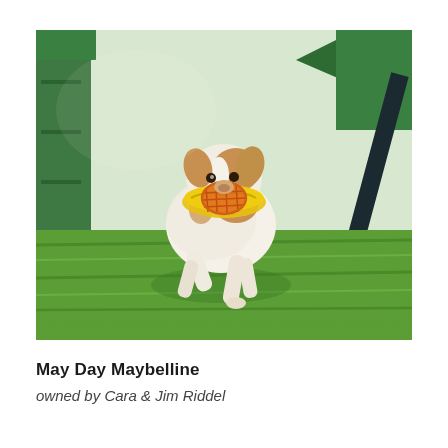[Figure (photo): A small white and brown dog wearing a yellow bandana around its neck and an orange basket muzzle on its nose, running energetically on green grass in front of a green wooden structure. The dog appears to be mid-stride, with one paw lifted off the ground.]
May Day Maybelline
owned by Cara & Jim Riddel